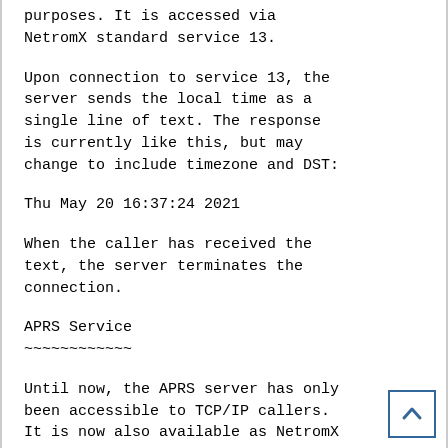purposes. It is accessed via NetromX standard service 13.
Upon connection to service 13, the server sends the local time as a single line of text. The response is currently like this, but may change to include timezone and DST:
Thu May 20 16:37:24 2021
When the caller has received the text, the server terminates the connection.
APRS Service
~~~~~~~~~~~~
Until now, the APRS server has only been accessible to TCP/IP callers. It is now also available as NetromX